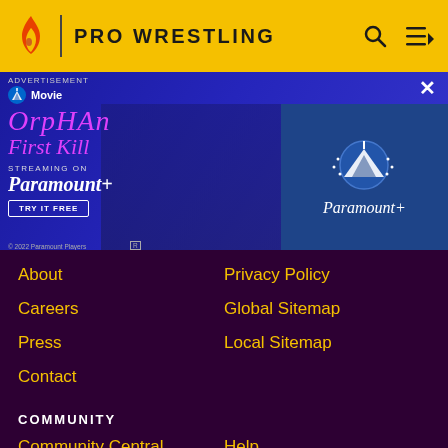PRO WRESTLING
[Figure (photo): Advertisement banner for Orphan: First Kill streaming on Paramount+. Shows the movie title in pink stylized text, a dark character/person in the background, with Paramount+ logo on the right side and a 'TRY IT FREE' button.]
About
Privacy Policy
Careers
Global Sitemap
Press
Local Sitemap
Contact
COMMUNITY
Community Central
Help